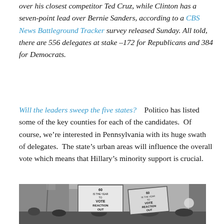over his closest competitor Ted Cruz, while Clinton has a seven-point lead over Bernie Sanders, according to a CBS News Battleground Tracker survey released Sunday. All told, there are 556 delegates at stake –172 for Republicans and 384 for Democrats.
Will the leaders sweep the five states?    Politico has listed some of the key counties for each of the candidates.  Of course, we're interested in Pennsylvania with its huge swath of delegates.  The state's urban areas will influence the overall vote which means that Hillary's minority support is crucial.
[Figure (photo): Black and white photograph of a protest crowd holding signs reading '60 IS THE YEAR TO VOTE REACTION OUT']